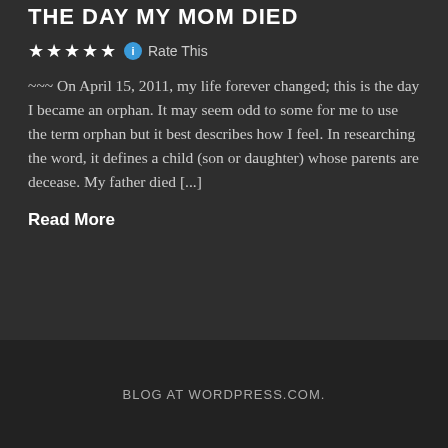THE DAY MY MOM DIED
★★★★★ ℹ Rate This
~~~ On April 15, 2011, my life forever changed; this is the day I became an orphan.  It may seem odd to some for me to use the term orphan but it best describes how I feel.  In researching the word, it defines a child (son or daughter) whose parents are decease.  My father died [...]
Read More
BLOG AT WORDPRESS.COM.